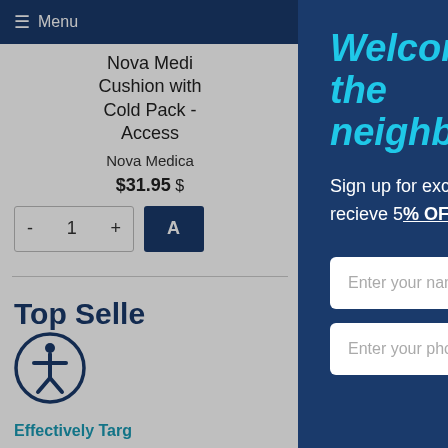≡ Menu
Nova Medi Cushion with Cold Pack - Access
Nova Medica
$31.95 $
- 1 + A
Top Selle
Effectively Targ
Welcome to the neighborhood.
Sign up for exclusive offers and content and recieve 5% OFF your next order.
Enter your name
Enter your phone number